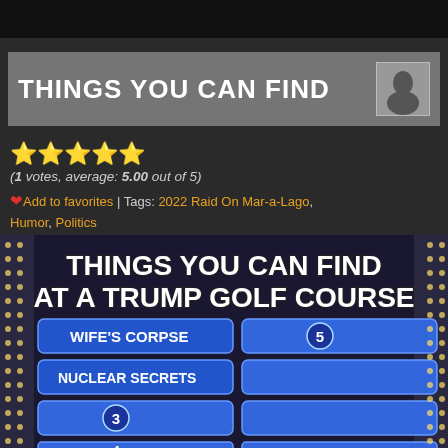[Figure (screenshot): Black bar at top of webpage]
THINGS YOU CAN FIND
(1 votes, average: 5.00 out of 5)
❤ Add to favorites | Tags: 2022 Raid On Mar-a-Lago, Humor, Politics
[Figure (photo): Meme showing a Family Feud-style game board with text 'THINGS YOU CAN FIND AT A TRUMP GOLF COURSE' and answers including WIFE'S CORPSE (5), NUCLEAR SECRETS, 3, 4]